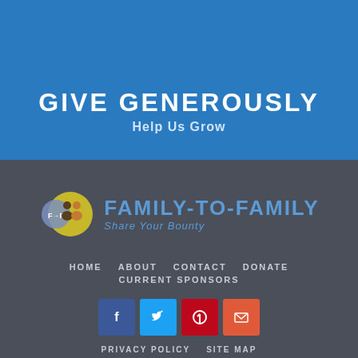GIVE GENEROUSLY
Help Us Grow
[Figure (logo): Family-to-Family Share Your Bounty logo with circular icon showing two figures and the text FAMILY-TO-FAMILY / Share Your Bounty]
HOME   ABOUT   CONTACT   DONATE   CURRENT SPONSORS
[Figure (infographic): Social media icon buttons: Facebook (blue), Twitter (light blue), Pinterest (red), Email (orange-red)]
PRIVACY POLICY   SITE MAP